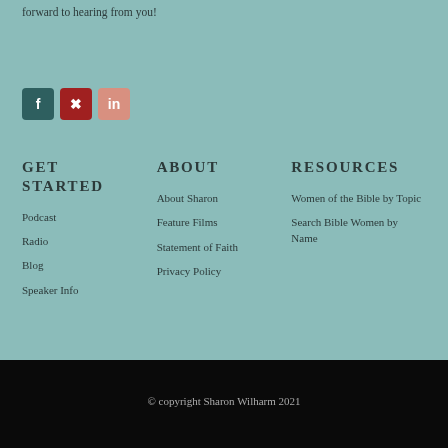forward to hearing from you!
[Figure (other): Social media icons: Facebook (dark teal), Pinterest (dark red), LinkedIn (salmon/peach)]
GET STARTED
Podcast
Radio
Blog
Speaker Info
ABOUT
About Sharon
Feature Films
Statement of Faith
Privacy Policy
RESOURCES
Women of the Bible by Topic
Search Bible Women by Name
© copyright Sharon Wilharm 2021